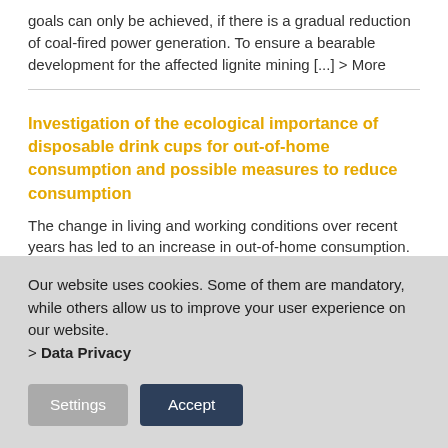goals can only be achieved, if there is a gradual reduction of coal-fired power generation. To ensure a bearable development for the affected lignite mining [...] > More
Investigation of the ecological importance of disposable drink cups for out-of-home consumption and possible measures to reduce consumption
The change in living and working conditions over recent years has led to an increase in out-of-home consumption. Convenience also applies to the consumption of soft drinks and hot beverages. The total quantity of takeaway [...] > More
Our website uses cookies. Some of them are mandatory, while others allow us to improve your user experience on our website. > Data Privacy
Settings
Accept